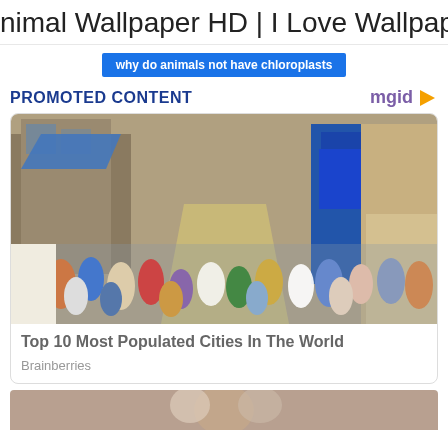nimal Wallpaper HD | I Love Wallpap
why do animals not have chloroplasts
PROMOTED CONTENT
[Figure (photo): Crowded street scene in a densely populated city, showing busy roads with pedestrians and old multi-story buildings with signs including AToZ]
Top 10 Most Populated Cities In The World
Brainberries
[Figure (photo): Partially visible second card image at the bottom of the page]